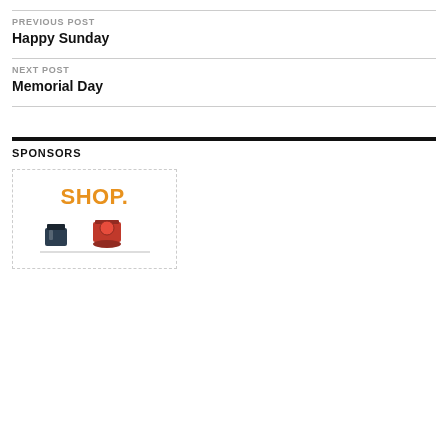PREVIOUS POST
Happy Sunday
NEXT POST
Memorial Day
SPONSORS
[Figure (photo): Advertisement box with orange 'SHOP.' text and small kitchen appliance images below]